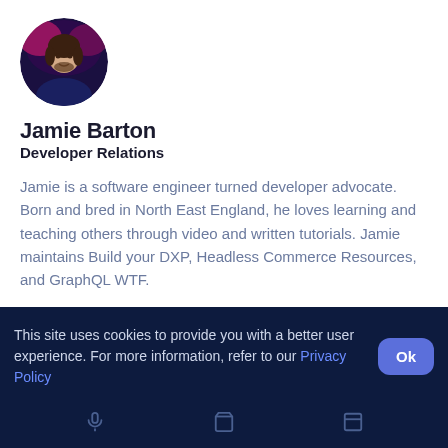[Figure (photo): Circular profile photo of Jamie Barton with a dark gaming-themed background with pink/magenta elements]
Jamie Barton
Developer Relations
Jamie is a software engineer turned developer advocate. Born and bred in North East England, he loves learning and teaching others through video and written tutorials. Jamie maintains Build your DXP, Headless Commerce Resources, and GraphQL WTF.
[Figure (infographic): Social media icons row: Twitter bird, LinkedIn 'in', GitHub octocat, globe/web icon]
This site uses cookies to provide you with a better user experience. For more information, refer to our Privacy Policy